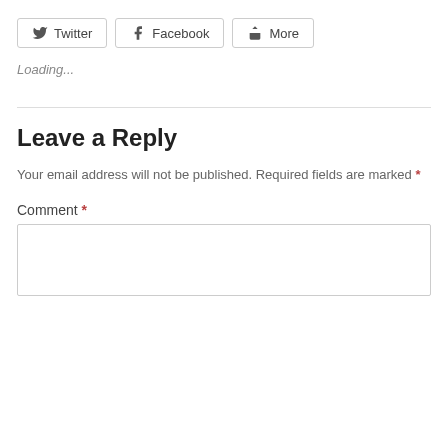[Figure (screenshot): Social share buttons row: Twitter, Facebook, More]
Loading...
Leave a Reply
Your email address will not be published. Required fields are marked *
Comment *